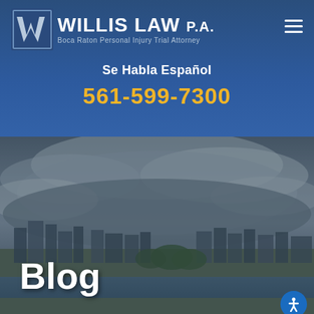[Figure (logo): Willis Law P.A. logo with W icon and text 'WILLIS LAW P.A. Boca Raton Personal Injury Trial Attorney']
Se Habla Español
561-599-7300
[Figure (photo): Aerial cityscape photo of Boca Raton, Florida with cloudy sky, waterway, and city buildings]
Blog